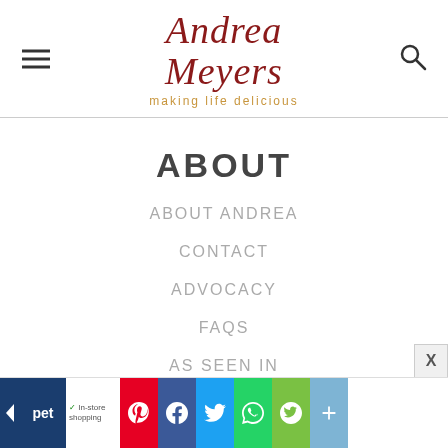Andrea Meyers — making life delicious
ABOUT
ABOUT ANDREA
CONTACT
ADVOCACY
FAQS
AS SEEN IN
WORK WITH ME
Social sharing toolbar with Pinterest, Facebook, Twitter, WhatsApp, Evernote, and other share icons